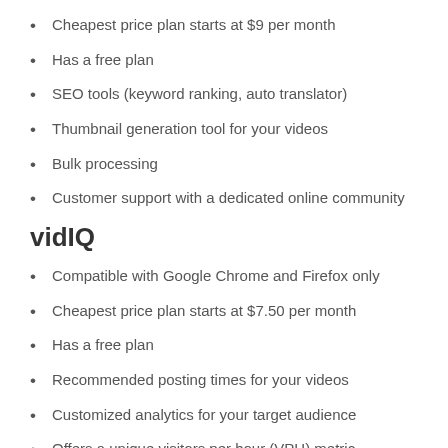Cheapest price plan starts at $9 per month
Has a free plan
SEO tools (keyword ranking, auto translator)
Thumbnail generation tool for your videos
Bulk processing
Customer support with a dedicated online community
vidIQ
Compatible with Google Chrome and Firefox only
Cheapest price plan starts at $7.50 per month
Has a free plan
Recommended posting times for your videos
Customized analytics for your target audience
Offers a unique visitors per hour (VPH) metric
Support for customers is limited to an automated chatbot
The most significant difference here is the base price. As vidIQ's analytics can be customized for more specific results, TubeBuddy